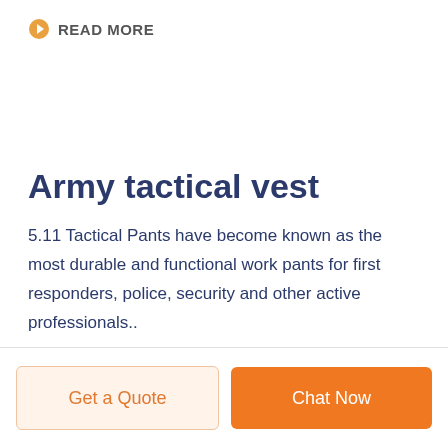READ MORE
Army tactical vest
5.11 Tactical Pants have become known as the most durable and functional work pants for first responders, police, security and other active professionals..
Get a Quote
Chat Now